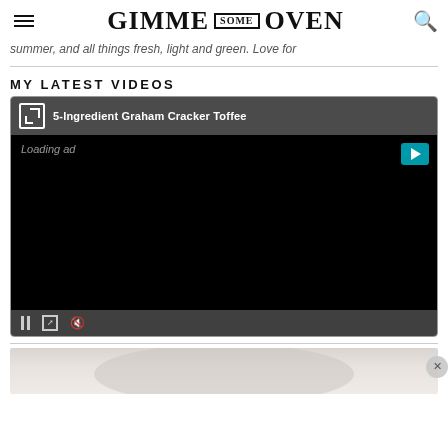GIMME SOME OVEN
summer, and all things fresh, light and green. Love for
MY LATEST VIDEOS
[Figure (screenshot): Embedded video player showing '5-Ingredient Graham Cracker Toffee' with a dark/black video body, loading ad text, play button in top-right corner, and playback controls at bottom (pause, expand, mute).]
[Figure (photo): Partial bottom image showing a light gray/beige curved or rounded shape against a white background, with a close (X) button overlay in the bottom right.]